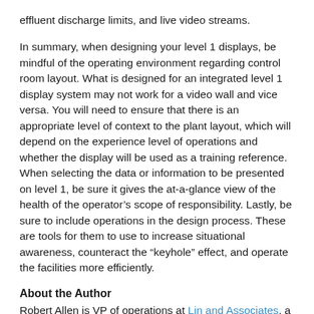effluent discharge limits, and live video streams.
In summary, when designing your level 1 displays, be mindful of the operating environment regarding control room layout. What is designed for an integrated level 1 display system may not work for a video wall and vice versa. You will need to ensure that there is an appropriate level of context to the plant layout, which will depend on the experience level of operations and whether the display will be used as a training reference. When selecting the data or information to be presented on level 1, be sure it gives the at-a-glance view of the health of the operator's scope of responsibility. Lastly, be sure to include operations in the design process. These are tools for them to use to increase situational awareness, counteract the “keyhole” effect, and operate the facilities more efficiently.
About the Author
Robert Allen is VP of operations at Lin and Associates, a control systems integration and consulting firm. He has extensive knowledge and more than 24 years of experience